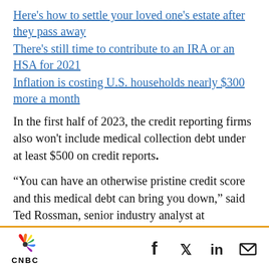Here's how to settle your loved one's estate after they pass away
There's still time to contribute to an IRA or an HSA for 2021
Inflation is costing U.S. households nearly $300 more a month
In the first half of 2023, the credit reporting firms also won't include medical collection debt under at least $500 on credit reports.
“You can have an otherwise pristine credit score and this medical debt can bring you down,” said Ted Rossman, senior industry analyst at
CNBC logo with social media icons: Facebook, Twitter, LinkedIn, Email